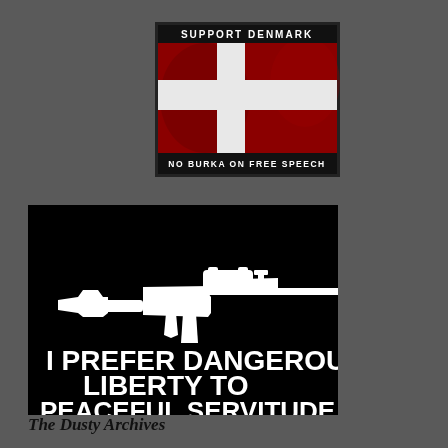[Figure (illustration): Banner image showing Denmark flag (red with white cross) with text 'SUPPORT DENMARK' at top and 'NO BURKA ON FREE SPEECH' at bottom]
[Figure (illustration): Black banner with white silhouette of an assault rifle (AR-15 style) and text 'I PREFER DANGEROUS LIBERTY TO PEACEFUL SERVITUDE']
The Dusty Archives